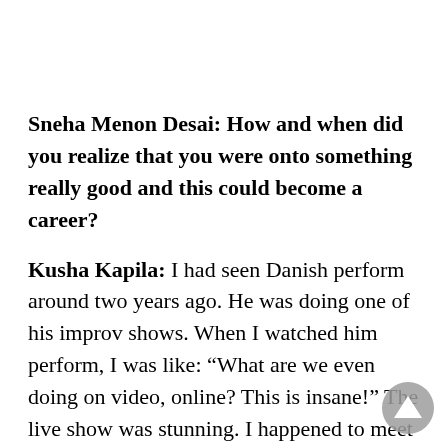Sneha Menon Desai: How and when did you realize that you were onto something really good and this could become a career?
Kusha Kapila: I had seen Danish perform around two years ago. He was doing one of his improv shows. When I watched him perform, I was like: “What are we even doing on video, online? This is insane!” The live show was stunning. I happened to meet him after that and he said something really interesting to me, which I always keep close to my heart: “Your comedy is something that bridges the